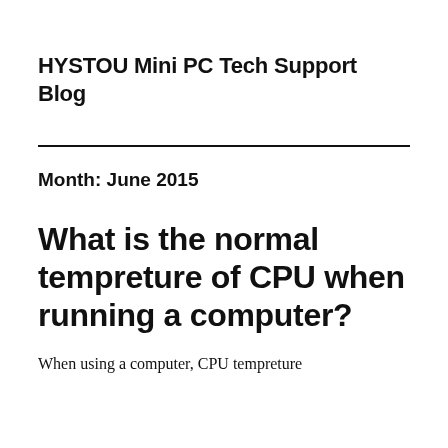HYSTOU Mini PC Tech Support Blog
Month: June 2015
What is the normal tempreture of CPU when running a computer?
When using a computer, CPU tempreture